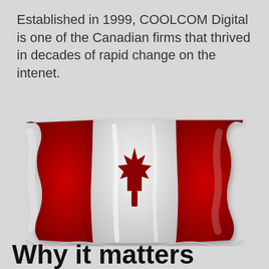Established in 1999, COOLCOM Digital is one of the Canadian firms that thrived in decades of rapid change on the intenet.
[Figure (illustration): Waving Canadian flag with red side panels and white center panel featuring a red maple leaf]
Why it matters